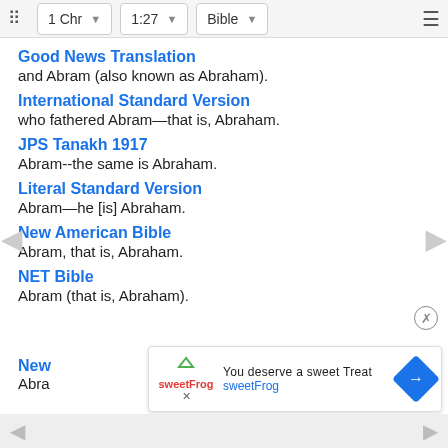1 Chr  1:27  Bible
Good News Translation
and Abram (also known as Abraham).
International Standard Version
who fathered Abram—that is, Abraham.
JPS Tanakh 1917
Abram--the same is Abraham.
Literal Standard Version
Abram—he [is] Abraham.
New American Bible
Abram, that is, Abraham.
NET Bible
Abram (that is, Abraham).
New
Abra
[Figure (screenshot): Advertisement overlay: sweetFrog logo with text 'You deserve a sweet Treat' and 'sweetFrog' in blue, with a blue diamond navigation arrow icon on the right.]